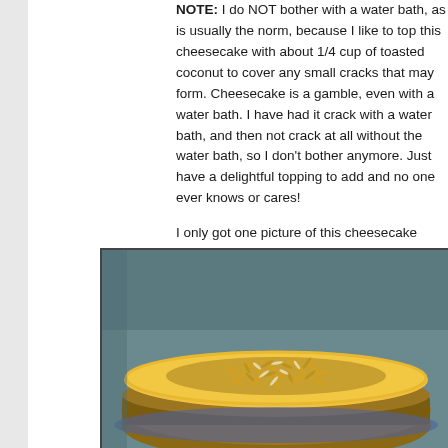NOTE:  I do NOT bother with a water bath, as is usually the norm, because I like to top this cheesecake with about 1/4 cup of toasted coconut to cover any small cracks that may form.  Cheesecake is a gamble, even with a water bath.  I have had it crack with a water bath, and then not crack at all without the water bath, so I don't bother anymore.  Just have a delightful topping to add and no one ever knows or cares!
I only got one picture of this cheesecake before transferring to my sister's.  I wish I could have got one of it sliced!
[Figure (photo): Close-up photo of a cheesecake topped with toasted coconut shreds, with a golden-yellow cheesecake surface and a graham cracker crust, on a blue plate against a teal/grey background.]